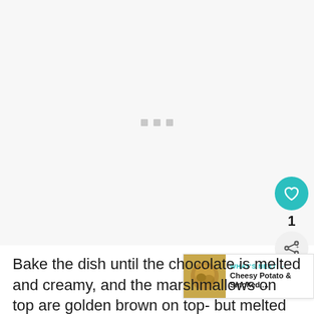[Figure (photo): Loading placeholder area with three small grey squares centered in a large light grey rectangle, representing an image that has not yet loaded.]
Bake the dish until the chocolate is melted and creamy, and the marshmallows on top are golden brown on top- but melted and ready to be